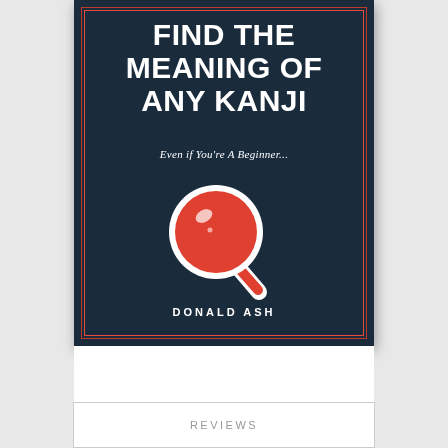[Figure (illustration): Book cover for 'Find the Meaning of Any Kanji' by Donald Ash. Dark navy background with double red border. Large white bold uppercase title text at top. Italic subtitle 'Even if You're A Beginner...' in white. Central icon of a red magnifying glass with white outline and white highlight glare. Author name 'DONALD ASH' in small bold white uppercase text at bottom.]
REVIEWS